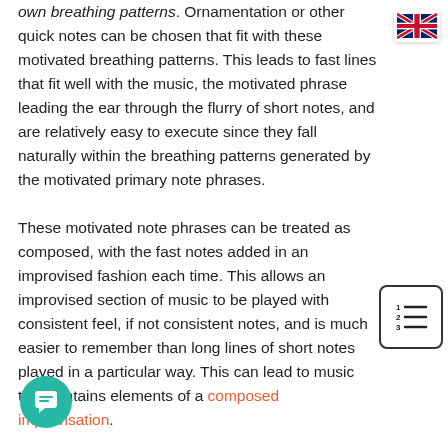own breathing patterns. Ornamentation or other quick notes can be chosen that fit with these motivated breathing patterns. This leads to fast lines that fit well with the music, the motivated phrase leading the ear through the flurry of short notes, and are relatively easy to execute since they fall naturally within the breathing patterns generated by the motivated primary note phrases. These motivated note phrases can be treated as composed, with the fast notes added in an improvised fashion each time. This allows an improvised section of music to be played with consistent feel, if not consistent notes, and is much easier to remember than long lines of short notes played in a particular way. This can lead to music that contains elements of a composed improvisation.
[Figure (illustration): UK flag icon in top right corner]
[Figure (illustration): Numbered list icon with 1, 2, 3 and horizontal lines]
[Figure (illustration): Teal chat bubble icon in bottom left corner]